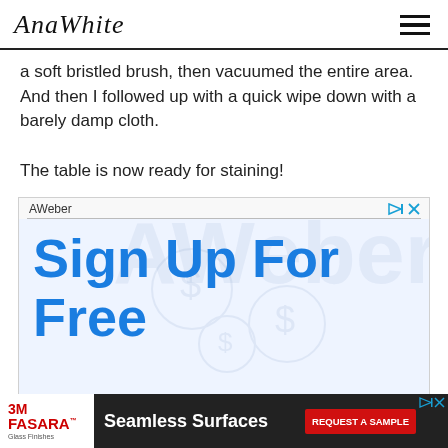AnaWhite
a soft bristled brush, then vacuumed the entire area. And then I followed up with a quick wipe down with a barely damp cloth.

The table is now ready for staining!
[Figure (screenshot): AWeber advertisement with 'Sign Up For Free' text in large blue letters on light blue background with watermark]
[Figure (screenshot): 3M FASARA Seamless Surfaces advertisement banner with red REQUEST A SAMPLE button]